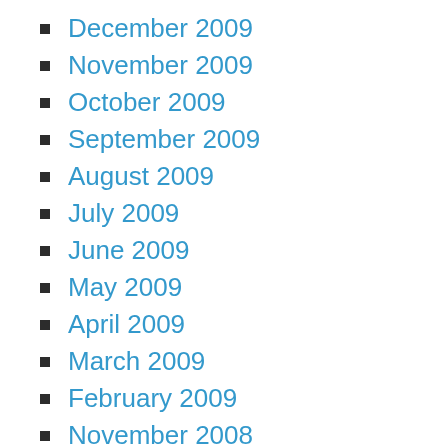December 2009
November 2009
October 2009
September 2009
August 2009
July 2009
June 2009
May 2009
April 2009
March 2009
February 2009
November 2008
October 2008
September 2008
August 2008
July 2008